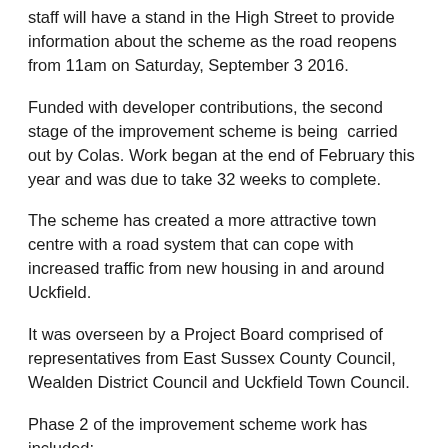staff will have a stand in the High Street to provide information about the scheme as the road reopens from 11am on Saturday, September 3 2016.
Funded with developer contributions, the second stage of the improvement scheme is being carried out by Colas. Work began at the end of February this year and was due to take 32 weeks to complete.
The scheme has created a more attractive town centre with a road system that can cope with increased traffic from new housing in and around Uckfield.
It was overseen by a Project Board comprised of representatives from East Sussex County Council, Wealden District Council and Uckfield Town Council.
Phase 2 of the improvement scheme work has included:
• wider pavements, with Yorkstone slabs
• new kerbs, footway materials and lighting elements for the